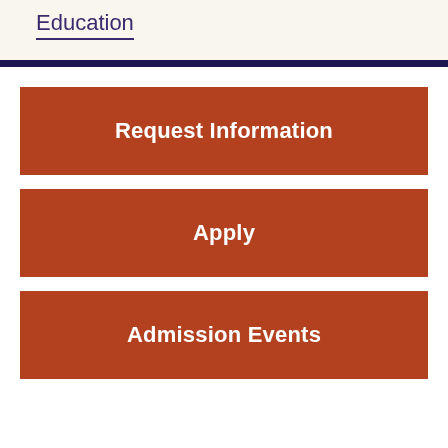Education
Request Information
Apply
Admission Events